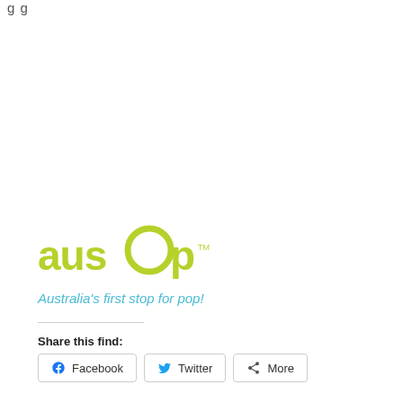g g
[Figure (logo): AusPop logo — stylized text 'auspop' in yellow-green with a circular lens graphic on the letter 'o', and trademark symbol]
Australia's first stop for pop!
Share this find:
Facebook   Twitter   More